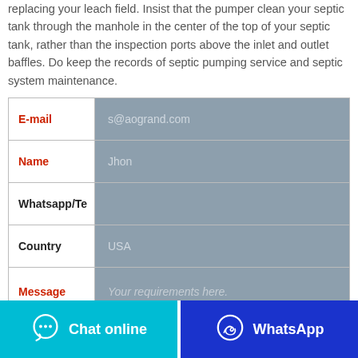replacing your leach field. Insist that the pumper clean your septic tank through the manhole in the center of the top of your septic tank, rather than the inspection ports above the inlet and outlet baffles. Do keep the records of septic pumping service and septic system maintenance.
| Field | Value |
| --- | --- |
| E-mail | s@aogrand.com |
| Name | Jhon |
| Whatsapp/Te |  |
| Country | USA |
| Message | Your requirements here. |
Chat online
WhatsApp